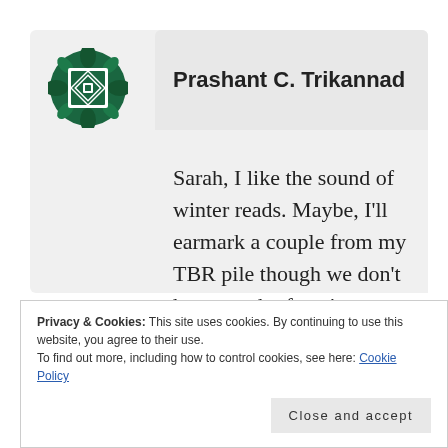[Figure (logo): Green decorative emblem/logo with geometric cross-hatch pattern and leaf border, used as avatar]
Prashant C. Trikannad
Sarah, I like the sound of winter reads. Maybe, I'll earmark a couple from my TBR pile though we don't have much of a winter out here.
Privacy & Cookies: This site uses cookies. By continuing to use this website, you agree to their use.
To find out more, including how to control cookies, see here: Cookie Policy
Close and accept